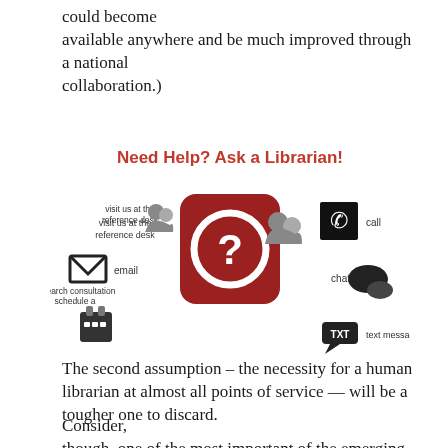could become
available anywhere and be much improved through a national
collaboration.)
[Figure (infographic): Need Help? Ask a Librarian! infographic showing options: visit us at the reference desk (person icon), email (envelope icon), schedule a research consultation (calendar icon), central question mark in dark red rounded square, call (phone icon), chat (speech bubble icon), text message (TXT speech bubble icon)]
The second assumption – the necessity for a human librarian at almost all points of service — will be a tougher one to discard.
Consider,
though, one of the most important of the emerging,